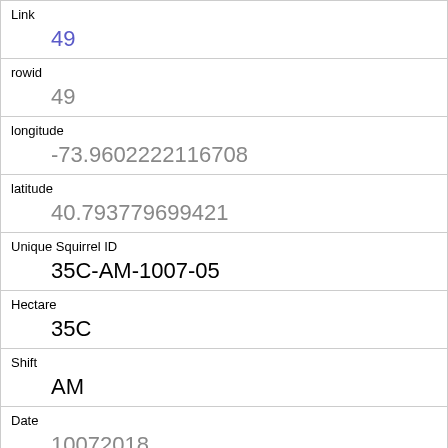| Field | Value |
| --- | --- |
| Link | 49 |
| rowid | 49 |
| longitude | -73.9602222116708 |
| latitude | 40.793779699421 |
| Unique Squirrel ID | 35C-AM-1007-05 |
| Hectare | 35C |
| Shift | AM |
| Date | 10072018 |
| Hectare Squirrel Number | 5 |
| Age | Adult |